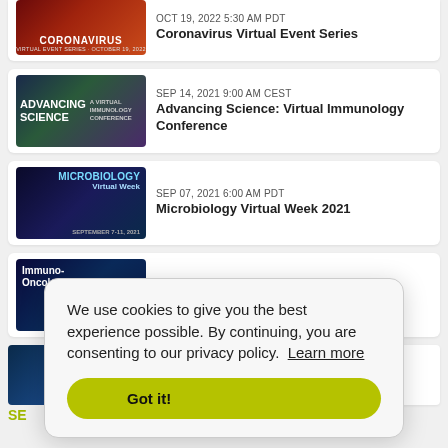[Figure (screenshot): Coronavirus Virtual Event Series thumbnail - dark red/orange gradient background with coronavirus text overlay]
OCT 19, 2022 5:30 AM PDT
Coronavirus Virtual Event Series
[Figure (screenshot): Advancing Science: Virtual Immunology Conference thumbnail - dark blue/green/purple gradient with Advancing Science logo]
SEP 14, 2021 9:00 AM CEST
Advancing Science: Virtual Immunology Conference
[Figure (screenshot): Microbiology Virtual Week thumbnail - dark blue background with microbiology imagery]
SEP 07, 2021 6:00 AM PDT
Microbiology Virtual Week 2021
[Figure (screenshot): Immuno-Oncology thumbnail - dark blue background]
JUN 02, 2021 5:30 AM PDT
Immuno-Oncology 2021
We use cookies to give you the best experience possible. By continuing, you are consenting to our privacy policy. Learn more
Got it!
SE